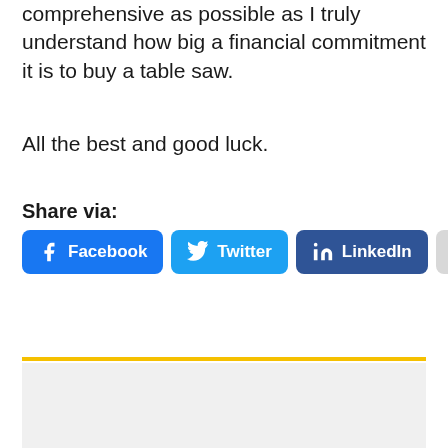comprehensive as possible as I truly understand how big a financial commitment it is to buy a table saw.
All the best and good luck.
Share via:
[Figure (other): Social share buttons: Facebook, Twitter, LinkedIn, More]
[Figure (other): Gray content box with yellow top border rule]